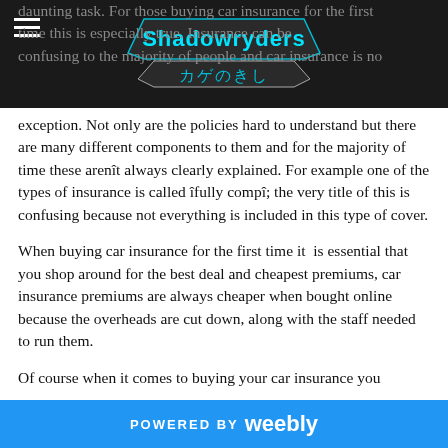Shadowryders カゲのきし [logo/site header with hamburger menu]
daunting task. For those buying car insurance for the first time this is especially true. Insurance can be confusing to the majority of people and car insurance is no exception. Not only are the policies hard to understand but there are many different components to them and for the majority of time these arenít always clearly explained. For example one of the types of insurance is called îfully compî; the very title of this is confusing because not everything is included in this type of cover.
When buying car insurance for the first time it is essential that you shop around for the best deal and cheapest premiums, car insurance premiums are always cheaper when bought online because the overheads are cut down, along with the staff needed to run them.
Of course when it comes to buying your car insurance you
POWERED BY weebly